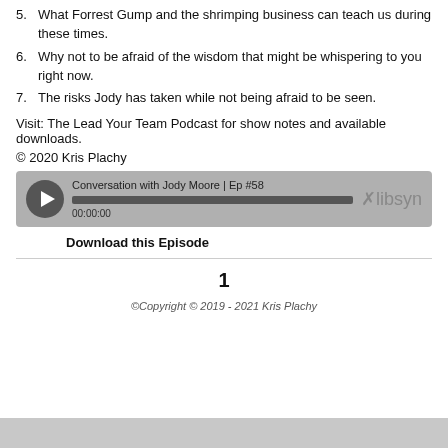5. What Forrest Gump and the shrimping business can teach us during these times.
6. Why not to be afraid of the wisdom that might be whispering to you right now.
7. The risks Jody has taken while not being afraid to be seen.
Visit: The Lead Your Team Podcast for show notes and available downloads.
© 2020 Kris Plachy
[Figure (other): Podcast audio player widget showing 'Conversation with Jody Moore | Ep #58', progress bar, timestamp 00:00:00, and libsyn branding.]
Download this Episode
1
©Copyright © 2019 - 2021 Kris Plachy